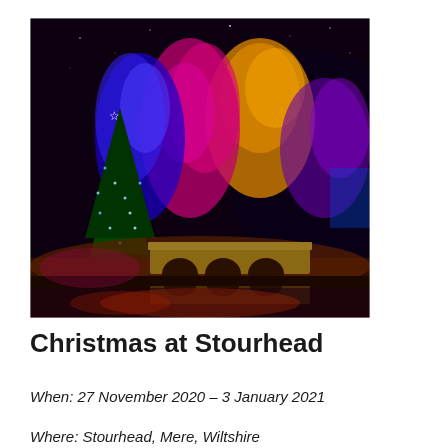[Figure (photo): Night-time photo of Stourhead garden with colourful illuminated trees (blue, pink, magenta, orange/yellow) and a stone bridge reflected in a lake, with a decorated Christmas tree with a star on the left.]
Christmas at Stourhead
When: 27 November 2020 – 3 January 2021
Where: Stourhead, Mere, Wiltshire